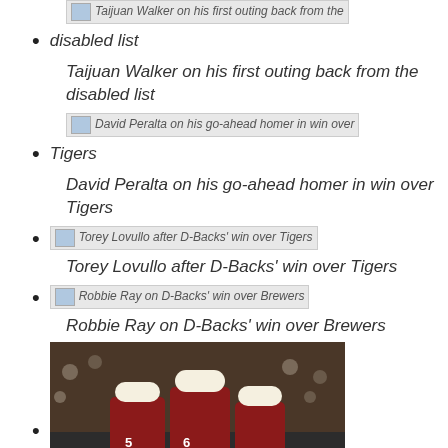[Figure (other): Broken image icon for Taijuan Walker on his first outing back from the disabled list]
Taijuan Walker on his first outing back from the disabled list
Taijuan Walker on his first outing back from the disabled list
[Figure (other): Broken image icon for David Peralta on his go-ahead homer in win over Tigers]
David Peralta on his go-ahead homer in win over Tigers
David Peralta on his go-ahead homer in win over Tigers
Torey Lovullo after D-Backs' win over Tigers
Torey Lovullo after D-Backs' win over Tigers
Robbie Ray on D-Backs' win over Brewers
Robbie Ray on D-Backs' win over Brewers
[Figure (photo): Photo of baseball players in red and white uniforms celebrating, players wearing numbers 5 and 6 visible]
Paul Goldschmidt on grand slam, offensive outburst
[Figure (other): Broken image icon for Godley on taking advantage of opportunity after D-]